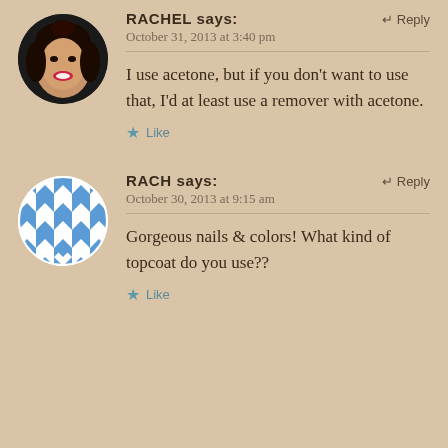[Figure (photo): Round avatar photo of a woman with dark hair and red lipstick, smiling]
RACHEL says:
↵ Reply
October 31, 2013 at 3:40 pm
I use acetone, but if you don't want to use that, I'd at least use a remover with acetone.
★ Like
[Figure (illustration): Round avatar with blue and white geometric quilt/tile pattern]
RACH says:
↵ Reply
October 30, 2013 at 9:15 am
Gorgeous nails & colors! What kind of topcoat do you use??
★ Like